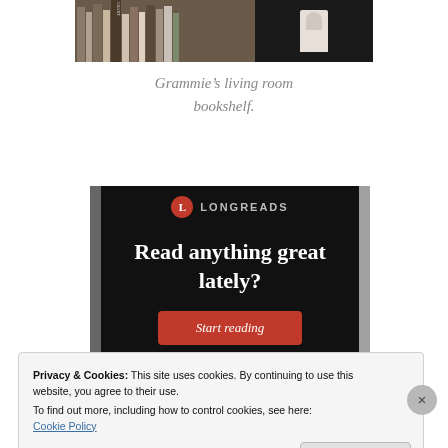[Figure (photo): Photo of a bookshelf with book spines visible on the left and a white figurine on a dark background on the right]
Grammie’s living room bookshelf.
[Figure (screenshot): Longreads advertisement banner with black background, red circular logo, text 'Read anything great lately?' and a red 'Start reading' button]
Privacy & Cookies: This site uses cookies. By continuing to use this website, you agree to their use.
To find out more, including how to control cookies, see here: Cookie Policy
Close and accept